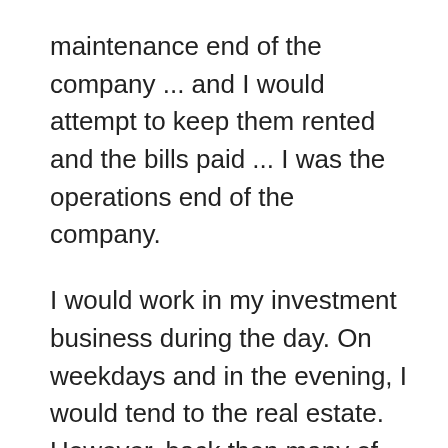maintenance end of the company ... and I would attempt to keep them rented and the bills paid ... I was the operations end of the company.
I would work in my investment business during the day. On weekdays and in the evening, I would tend to the real estate. However, back then many of my client appointments for investments were held in the evening due to my market being primarily people who worked during the day.  I would try to squeeze in showing houses for rent between appointments.  On the weekends I would try to help Hank with maintenance